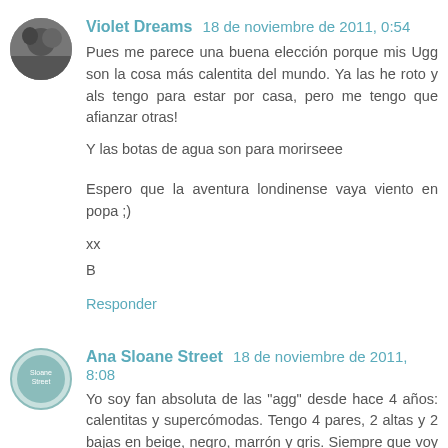Violet Dreams  18 de noviembre de 2011, 0:54
Pues me parece una buena elección porque mis Ugg son la cosa más calentita del mundo. Ya las he roto y als tengo para estar por casa, pero me tengo que afianzar otras!

Y las botas de agua son para morirseee

Espero que la aventura londinense vaya viento en popa ;)

xx
B
Responder
Ana Sloane Street  18 de noviembre de 2011, 8:08
Yo soy fan absoluta de las "agg" desde hace 4 años: calentitas y supercómodas. Tengo 4 pares, 2 altas y 2 bajas en beige, negro, marrón y gris. Siempre que voy a Londres "todo quisqui" las lleva puestas, la última vez en